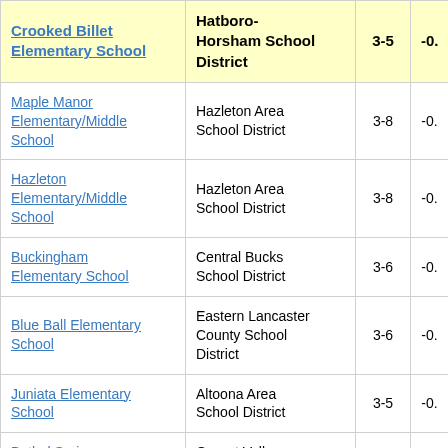| School | District | Grades | Score |
| --- | --- | --- | --- |
| Crooked Billet Elementary School | Hatboro-Horsham School District | 3-5 | -0. |
| Maple Manor Elementary/Middle School | Hazleton Area School District | 3-8 | -0. |
| Hazleton Elementary/Middle School | Hazleton Area School District | 3-8 | -0. |
| Buckingham Elementary School | Central Bucks School District | 3-6 | -0. |
| Blue Ball Elementary School | Eastern Lancaster County School District | 3-6 | -0. |
| Juniata Elementary School | Altoona Area School District | 3-5 | -0. |
| Bethel Springs Elementary School | Garnet Valley School District | 3-5 | -0. |